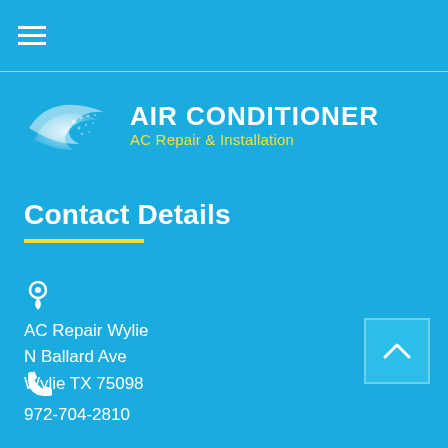☰ (hamburger menu)
[Figure (logo): Air Conditioner AC Repair & Installation logo with wind/wave icon]
AIR CONDITIONER
AC Repair & Installation
Contact Details
AC Repair Wylie
N Ballard Ave
Wylie TX 75098
972-704-2810